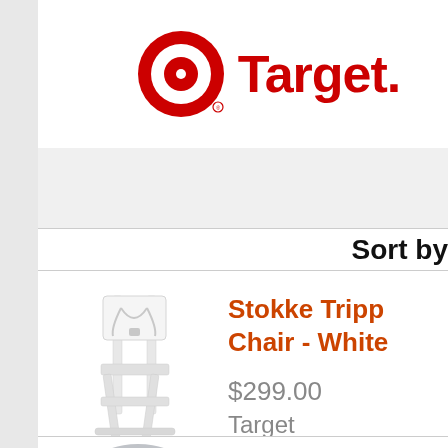[Figure (logo): Target bullseye logo (red circle with red ring) and 'Target.' text in red, on white background]
Sort by
Stokke Tripp Chair - White
$299.00
Target
Stokke Tripp High Chair A...